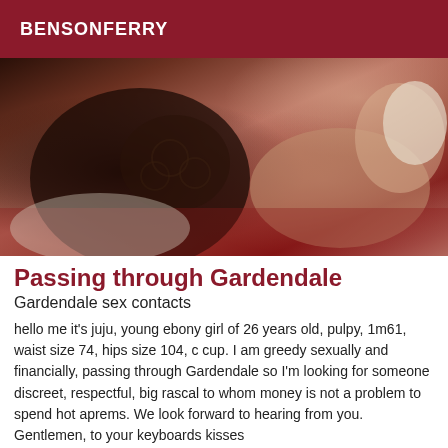BENSONFERRY
[Figure (photo): Photo of a young woman lying on a red surface, wearing dark lace clothing]
Passing through Gardendale
Gardendale sex contacts
hello me it's juju, young ebony girl of 26 years old, pulpy, 1m61, waist size 74, hips size 104, c cup. I am greedy sexually and financially, passing through Gardendale so I'm looking for someone discreet, respectful, big rascal to whom money is not a problem to spend hot aprems. We look forward to hearing from you. Gentlemen, to your keyboards kisses